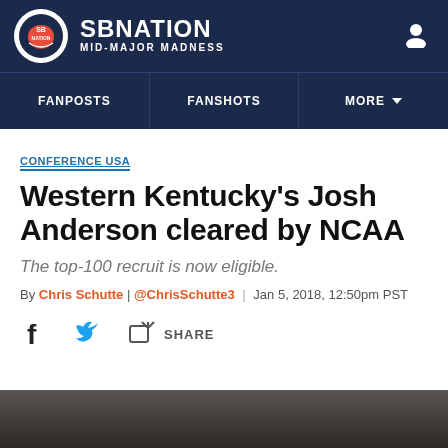SBNation MID-MAJOR MADNESS
FANPOSTS | FANSHOTS | MORE
CONFERENCE USA
Western Kentucky's Josh Anderson cleared by NCAA
The top-100 recruit is now eligible.
By Chris Schutte | @ChrisSchutte3 | Jan 5, 2018, 12:50pm PST